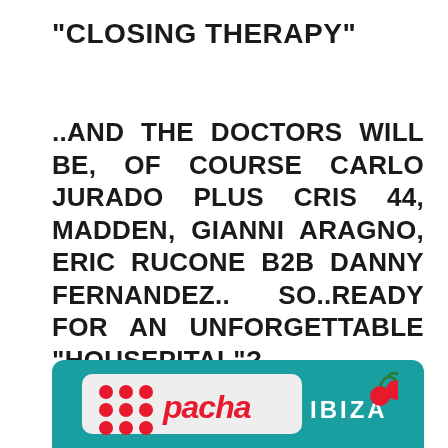“CLOSING THERAPY”
..AND THE DOCTORS WILL BE, OF COURSE CARLO JURADO PLUS CRIS 44, MADDEN, GIANNI ARAGNO, ERIC RUCONE B2B DANNY FERNANDEZ.. SO..READY FOR AN UNFORGETTABLE “HOUSEPITAL”?
[Figure (logo): Pacha Ibiza logo on teal/turquoise background with red Pacha text, white IBIZA text, and cherry icon]